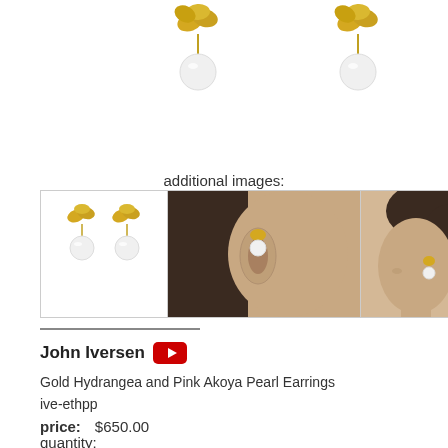[Figure (photo): Two gold hydrangea and pearl earrings shown side by side on white background]
additional images:
[Figure (photo): Three thumbnail images: first shows both earrings on white background, second shows earring worn on ear close-up, third shows woman wearing earrings in profile]
John Iversen
Gold Hydrangea and Pink Akoya Pearl Earrings
ive-ethpp
price:   $650.00
quantity: